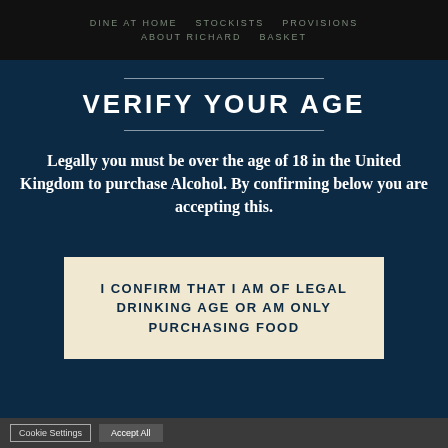DINE AT HOME  STOCKISTS  PROVISIONS  ABOUT RICHARD  BASKET
VERIFY YOUR AGE
Legally you must be over the age of 18 in the United Kingdom to purchase Alcohol. By confirming below you are accepting this.
I CONFIRM THAT I AM OF LEGAL DRINKING AGE OR AM ONLY PURCHASING FOOD
Cookie Settings  Accept All